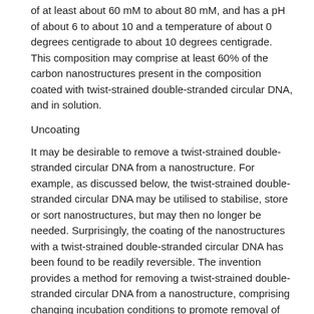of at least about 60 mM to about 80 mM, and has a pH of about 6 to about 10 and a temperature of about 0 degrees centigrade to about 10 degrees centigrade. This composition may comprise at least 60% of the carbon nanostructures present in the composition coated with twist-strained double-stranded circular DNA, and in solution.
Uncoating
It may be desirable to remove a twist-strained double-stranded circular DNA from a nanostructure. For example, as discussed below, the twist-strained double-stranded circular DNA may be utilised to stabilise, store or sort nanostructures, but may then no longer be needed. Surprisingly, the coating of the nanostructures with a twist-strained double-stranded circular DNA has been found to be readily reversible. The invention provides a method for removing a twist-strained double-stranded circular DNA from a nanostructure, comprising changing incubation conditions to promote removal of said DNA. The method thus comprises incubating a nanostructure coated with a twist-strained double-stranded circular DNA under conditions promoting removal of said DNA.
The change in incubation conditions typically promotes relaxation of the twist-strained DNA. The method may therefore be used to relax a twist-strained double-stranded DNA coated on a nanostructure.
The change in incubation conditions to promote removal of the DNA may